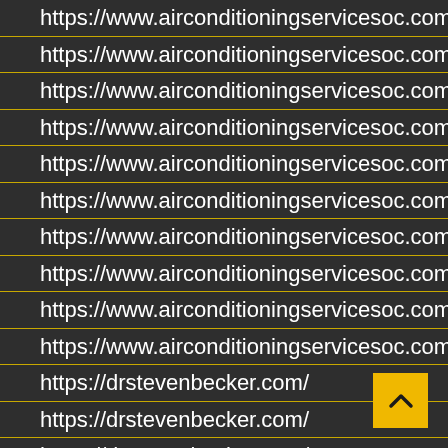https://www.airconditioningservicesoc.com/
https://www.airconditioningservicesoc.com/
https://www.airconditioningservicesoc.com/
https://www.airconditioningservicesoc.com/
https://www.airconditioningservicesoc.com/
https://www.airconditioningservicesoc.com/
https://www.airconditioningservicesoc.com/
https://www.airconditioningservicesoc.com/
https://www.airconditioningservicesoc.com/
https://www.airconditioningservicesoc.com/
https://drstevenbecker.com/
https://drstevenbecker.com/
https://drstevenbecker.com/
https://drstevenbecker.com/
https://drstevenbecker.com/
https://drstevenbecker.com/
https://gadgetstripe.com/
https://tanatimes.com/